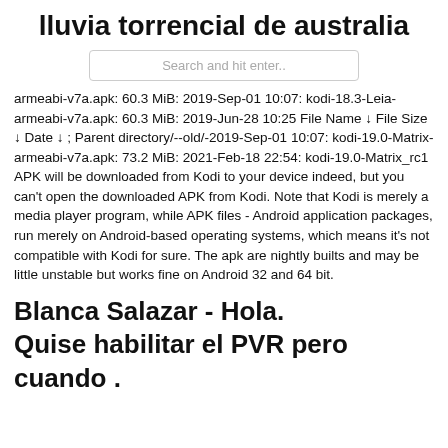lluvia torrencial de australia
Search and hit enter..
armeabi-v7a.apk: 60.3 MiB: 2019-Sep-01 10:07: kodi-18.3-Leia-armeabi-v7a.apk: 60.3 MiB: 2019-Jun-28 10:25 File Name ↓ File Size ↓ Date ↓ ; Parent directory/--old/-2019-Sep-01 10:07: kodi-19.0-Matrix-armeabi-v7a.apk: 73.2 MiB: 2021-Feb-18 22:54: kodi-19.0-Matrix_rc1 APK will be downloaded from Kodi to your device indeed, but you can't open the downloaded APK from Kodi. Note that Kodi is merely a media player program, while APK files - Android application packages, run merely on Android-based operating systems, which means it's not compatible with Kodi for sure. The apk are nightly builts and may be little unstable but works fine on Android 32 and 64 bit.
Blanca Salazar - Hola. Quise habilitar el PVR pero cuando .